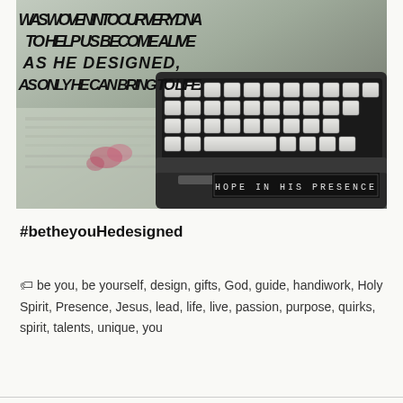[Figure (photo): A typewriter keyboard photographed from above, with bold italic uppercase text overlaid reading: 'WAS WOVEN INTO OUR VERY DNA TO HELP US BECOME ALIVE AS HE DESIGNED, AS ONLY HE CAN BRING TO LIFE.' A black badge in the lower right reads 'HOPE IN HIS PRESENCE' in monospace caps.]
#betheyouHedesigned
be you, be yourself, design, gifts, God, guide, handiwork, Holy Spirit, Presence, Jesus, lead, life, live, passion, purpose, quirks, spirit, talents, unique, you